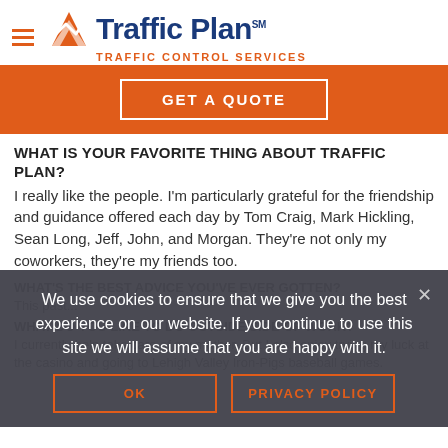[Figure (logo): Traffic Plan logo with orange zigzag icon and blue text 'Traffic Plan' with tagline 'TRAFFIC CONTROL SERVICES']
GET A QUOTE
WHAT IS YOUR FAVORITE THING ABOUT TRAFFIC PLAN?
I really like the people. I'm particularly grateful for the friendship and guidance offered each day by Tom Craig, Mark Hickling, Sean Long, Jeff, John, and Morgan. They're not only my coworkers, they're my friends too.
We use cookies to ensure that we give you the best experience on our website. If you continue to use this site we will assume that you are happy with it.
OK
PRIVACY POLICY
WHAT DO YOU LIKE TO DO OUTSIDE SIDE OF WORK?
I currently help take care of my mother. But I also enjoy trying my luck at the casino and going to Lehigh Valley Iron-Pigs baseball games.